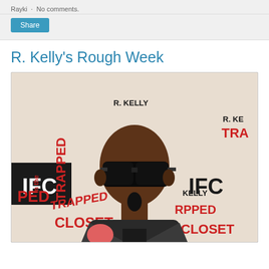Rayki · No comments.
Share
R. Kelly's Rough Week
[Figure (photo): Man wearing black sunglasses and dark suit at an IFC 'Trapped in the Closet' R. Kelly event backdrop, posed at a red carpet event.]